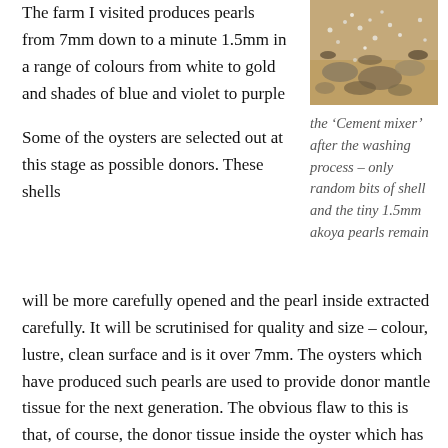The farm I visited produces pearls from 7mm down to a minute 1.5mm in a range of colours from white to gold and shades of blue and violet to purple
[Figure (photo): Close-up photo of shells and tiny akoya pearls on sandy ground after washing process]
the ‘Cement mixer’ after the washing process – only random bits of shell and the tiny 1.5mm akoya pearls remain
Some of the oysters are selected out at this stage as possible donors. These shells will be more carefully opened and the pearl inside extracted carefully. It will be scrutinised for quality and size – colour, lustre, clean surface and is it over 7mm. The oysters which have produced such pearls are used to provide donor mantle tissue for the next generation. The obvious flaw to this is that, of course, the donor tissue inside the oyster which has produced the pearl is not related (except distantly) to this specific oyster, but it is reckoned – practically – that a pearl is 80% donor mantle and 20% host. And this process looks for